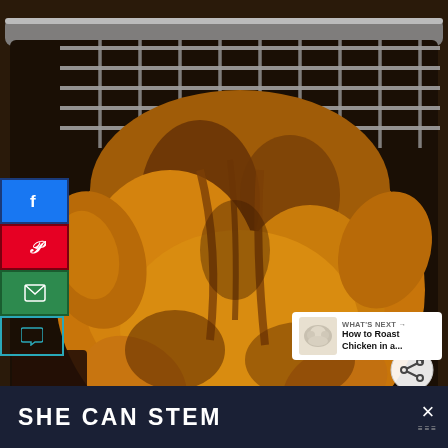[Figure (photo): A golden-brown roasted whole chicken on a stainless steel roasting rack inside a dark roasting pan, photographed from above at an angle. The chicken skin is deeply caramelized with golden and dark brown patches.]
[Figure (infographic): Social media sharing sidebar on the left with Facebook (blue), Pinterest (red), email (green), and comment (teal outline) buttons.]
[Figure (infographic): Heart (save) icon and share button on the right side of the image overlay.]
[Figure (screenshot): What's Next card in bottom-right of image showing a small thumbnail of cauliflower and text 'WHAT'S NEXT → How to Roast Chicken in a...']
SHE CAN STEM
[Figure (infographic): Close button X with Whisk app dots logo at far right of bottom bar]